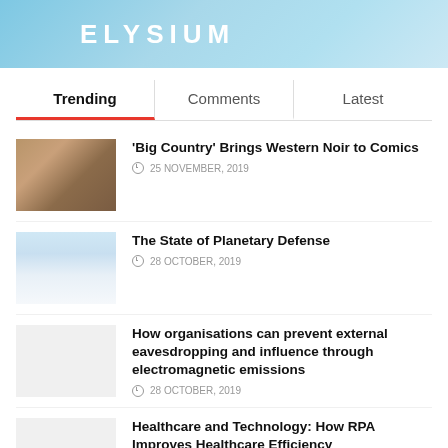[Figure (illustration): Elysium banner with light blue gradient background and bold white text reading ELYSIUM]
Trending | Comments | Latest
'Big Country' Brings Western Noir to Comics — 25 NOVEMBER, 2019
The State of Planetary Defense — 28 OCTOBER, 2019
How organisations can prevent external eavesdropping and influence through electromagnetic emissions — 28 OCTOBER, 2019
Healthcare and Technology: How RPA Improves Healthcare Efficiency